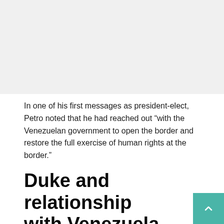[Figure (photo): Gray placeholder image area at top of page]
In one of his first messages as president-elect, Petro noted that he had reached out “with the Venezuelan government to open the border and restore the full exercise of human rights at the border.”
Duke and relationship with Venezuela